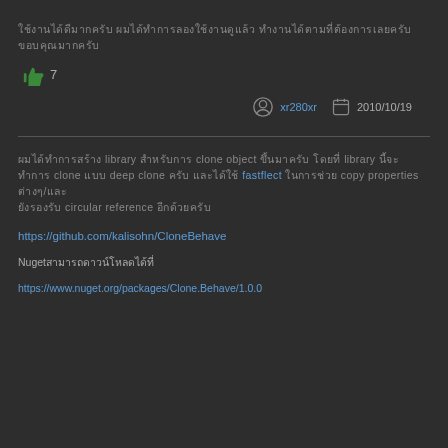ใช้งานได้ดีมากครับ ผมได้ทำการลองใช้งานดูแล้ว ทำงานได้ตามที่ต้องการเลยครับ
👍 7
xr280xr  2010/10/19
ผมได้ทำการสร้าง library สำหรับการ clone object ขึ้นมาครับ โดยใช้ fastflect ในการช่วย copy properties ต่างๆ/และได้ทำการ publish ขึ้น github และ nuget แล้วครับ
https://github.com/kalisohn/CloneBehave
Nugetสามารถดาวน์โหลดได้ที่
https://www.nuget.org/packages/Clone.Behave/1.0.0